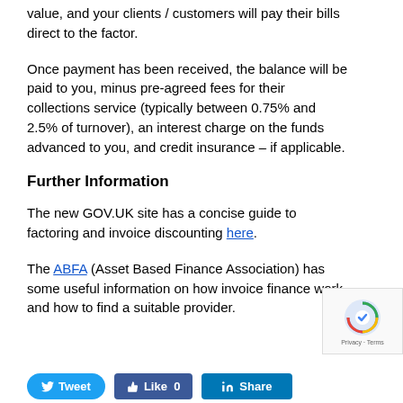value, and your clients / customers will pay their bills direct to the factor.
Once payment has been received, the balance will be paid to you, minus pre-agreed fees for their collections service (typically between 0.75% and 2.5% of turnover), an interest charge on the funds advanced to you, and credit insurance – if applicable.
Further Information
The new GOV.UK site has a concise guide to factoring and invoice discounting here.
The ABFA (Asset Based Finance Association) has some useful information on how invoice finance work, and how to find a suitable provider.
[Figure (other): reCAPTCHA widget with Privacy and Terms text]
[Figure (other): Social share buttons: Tweet, Like 0, Share]